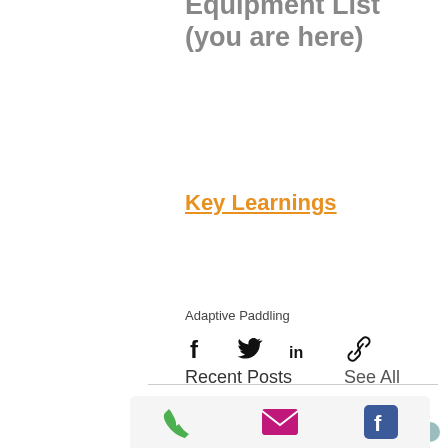Equipment List (you are here)
Key Learnings
Adaptive Paddling
[Figure (infographic): Social sharing icons: Facebook, Twitter, LinkedIn, link/chain icon]
2 likes (heart icon)
[Figure (infographic): Scroll progress bar with up-arrow button]
Recent Posts
See All
[Figure (infographic): Footer icons: phone (green), email (pink/magenta), Facebook (blue)]